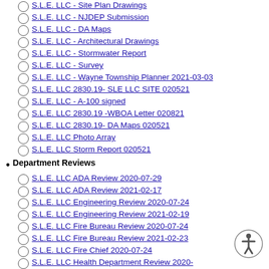S.L.E. LLC - Site Plan Drawings
S.L.E. LLC - NJDEP Submission
S.L.E. LLC - DA Maps
S.L.E. LLC - Architectural Drawings
S.L.E. LLC - Stormwater Report
S.L.E. LLC - Survey
S.L.E. LLC - Wayne Township Planner 2021-03-03
S.L.E. LLC 2830.19- SLE LLC SITE 020521
S.L.E. LLC - A-100  signed
S.L.E. LLC 2830.19 -WBOA Letter 020821
S.L.E. LLC 2830.19- DA Maps 020521
S.L.E. LLC Photo Array
S.L.E. LLC Storm Report 020521
Department Reviews
S.L.E. LLC ADA Review 2020-07-29
S.L.E. LLC ADA Review 2021-02-17
S.L.E. LLC Engineering Review 2020-07-24
S.L.E. LLC Engineering Review 2021-02-19
S.L.E. LLC Fire Bureau Review 2020-07-24
S.L.E. LLC Fire Bureau Review 2021-02-23
S.L.E. LLC Fire Chief 2020-07-24
S.L.E. LLC Health Department Review 2020-
S.L.E. LLC Health Review 2021-02-16
S.L.E. LLC Landscape Review 2020-07-27
S.L.E. LLC Landscape and Design Review 2021-02-22